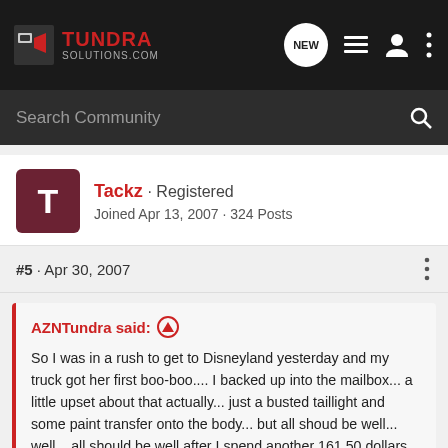TundraSolutions.com — NEW
Search Community
Tackz · Registered
Joined Apr 13, 2007 · 324 Posts
#5 · Apr 30, 2007
AZNTundra said: ↑
So I was in a rush to get to Disneyland yesterday and my truck got her first boo-boo.... I backed up into the mailbox... a little upset about that actually... just a busted taillight and some paint transfer onto the body... but all shoud be well... well... all should be well after I spend another 161.50 dollars for the new tailight.

Alex
Click to expand...